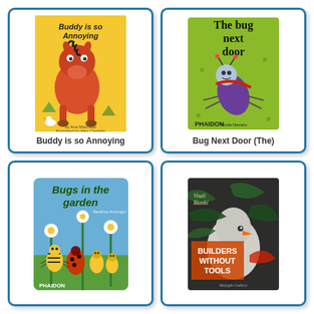[Figure (illustration): Book cover: 'Buddy is so Annoying' - yellow background with cartoon red horse/donkey character]
Buddy is so Annoying
[Figure (illustration): Book cover: 'The Bug Next Door' - green background with cartoon bug character, Phaidon publisher]
Bug Next Door (The)
[Figure (illustration): Book cover: 'Bugs in the Garden' - blue background with illustrated garden bugs, Phaidon publisher]
[Figure (illustration): Book cover: 'Builders Without Tools' by Vitali Bianki - dark background with bird illustration]